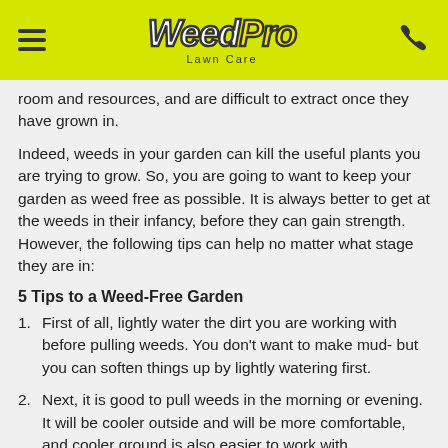WeedPro Lawn Care
room and resources, and are difficult to extract once they have grown in.
Indeed, weeds in your garden can kill the useful plants you are trying to grow. So, you are going to want to keep your garden as weed free as possible. It is always better to get at the weeds in their infancy, before they can gain strength. However, the following tips can help no matter what stage they are in:
5 Tips to a Weed-Free Garden
1.   First of all, lightly water the dirt you are working with before pulling weeds. You don't want to make mud- but you can soften things up by lightly watering first.
2.   Next, it is good to pull weeds in the morning or evening. It will be cooler outside and will be more comfortable, and cooler ground is also easier to work with.